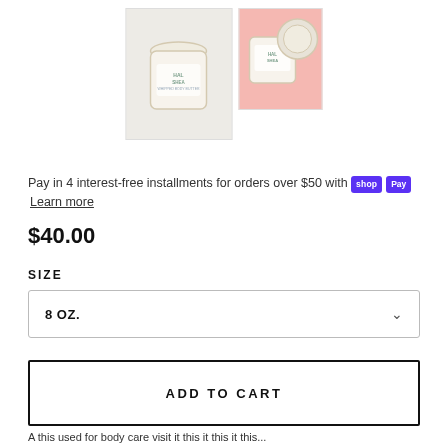[Figure (photo): Two product photos of a shea body butter jar: main large image showing closed jar on white/grey background, thumbnail showing open jar on pink background]
Pay in 4 interest-free installments for orders over $50 with shop Pay  Learn more
$40.00
SIZE
8 OZ.
ADD TO CART
A this used for body care visit it this...